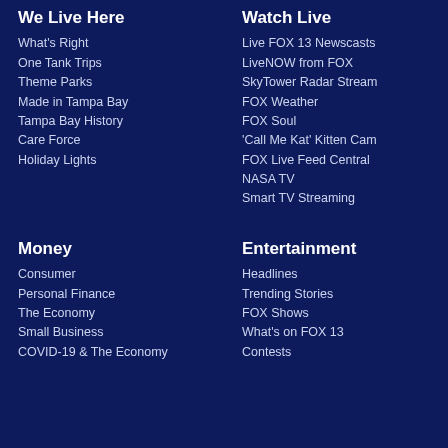We Live Here
What's Right
One Tank Trips
Theme Parks
Made in Tampa Bay
Tampa Bay History
Care Force
Holiday Lights
Watch Live
Live FOX 13 Newscasts
LiveNOW from FOX
SkyTower Radar Stream
FOX Weather
FOX Soul
'Call Me Kat' Kitten Cam
FOX Live Feed Central
NASA TV
Smart TV Streaming
Money
Consumer
Personal Finance
The Economy
Small Business
COVID-19 & The Economy
Entertainment
Headlines
Trending Stories
FOX Shows
What's on FOX 13
Contests